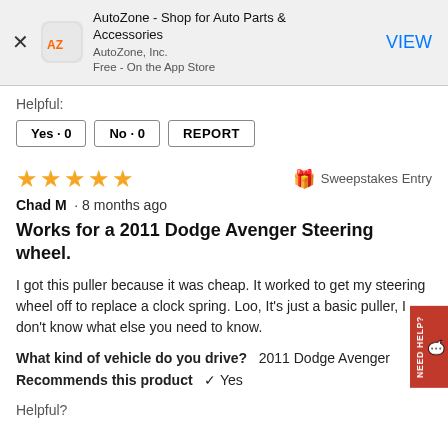[Figure (screenshot): AutoZone app banner with icon, title, publisher, price, and VIEW button]
Helpful?
Yes · 0  No · 0  REPORT
★★★★★  Sweepstakes Entry
Chad M  · 8 months ago
Works for a 2011 Dodge Avenger Steering wheel.
I got this puller because it was cheap. It worked to get my steering wheel off to replace a clock spring. Loo, It's just a basic puller, I don't know what else you need to know.
What kind of vehicle do you drive?   2011 Dodge Avenger
Recommends this product  ✔  Yes
Helpful?